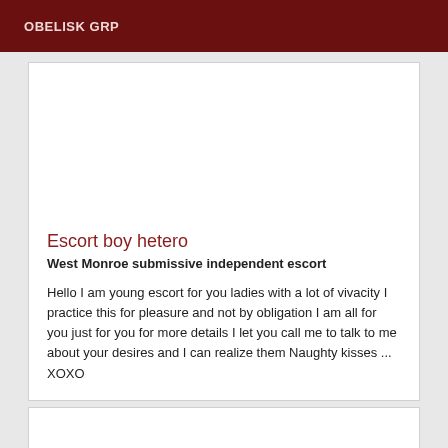OBELISK GRP
Escort boy hetero
West Monroe submissive independent escort
Hello I am young escort for you ladies with a lot of vivacity I practice this for pleasure and not by obligation I am all for you just for you for more details I let you call me to talk to me about your desires and I can realize them Naughty kisses ... XOXO